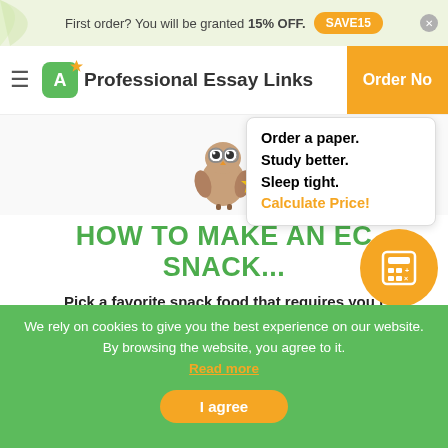First order? You will be granted 15% OFF. SAVE15
Professional Essay Links  Order Now
[Figure (illustration): Cartoon owl with glasses holding a gold star, mascot for the essay writing service]
HOW TO MAKE AN EC... SNACK...
Order a paper. Study better. Sleep tight. Calculate Price!
Pick a favorite snack food that requires you to at least eight steps to prepare.Write one to t... 2) pages of instructi...
We rely on cookies to give you the best experience on our website. By browsing the website, you agree to it. Read more
I agree